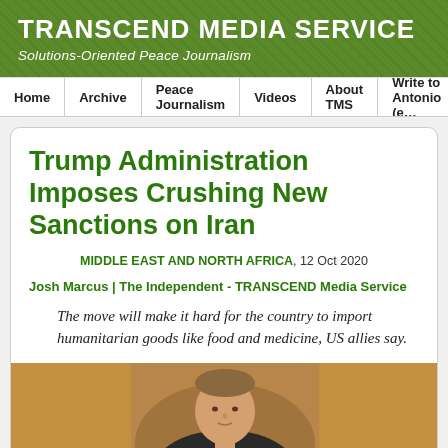TRANSCEND MEDIA SERVICE
Solutions-Oriented Peace Journalism
Home | Archive | Peace Journalism | Videos | About TMS | Write to Antonio (e…
Trump Administration Imposes Crushing New Sanctions on Iran
MIDDLE EAST AND NORTH AFRICA, 12 Oct 2020
Josh Marcus | The Independent - TRANSCEND Media Service
The move will make it hard for the country to import humanitarian goods like food and medicine, US allies say.
[Figure (photo): Photo of a person in a dark suit, appearing to be a government official, photographed against a warm golden background]